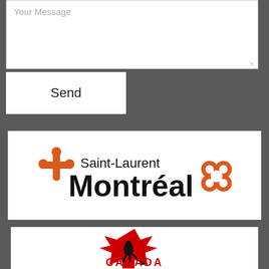[Figure (screenshot): A text area input field with placeholder text 'Your Message' on a grey background]
[Figure (screenshot): A white button with the label 'Send']
[Figure (logo): Saint-Laurent Montréal logo — orange flower/cross icon on left with text 'Saint-Laurent' above 'Montréal' in black, and an orange four-leaf clover icon on the right]
[Figure (logo): Hockey Canada logo — red maple leaf with black hockey player silhouette, text 'CANADA' in red below]